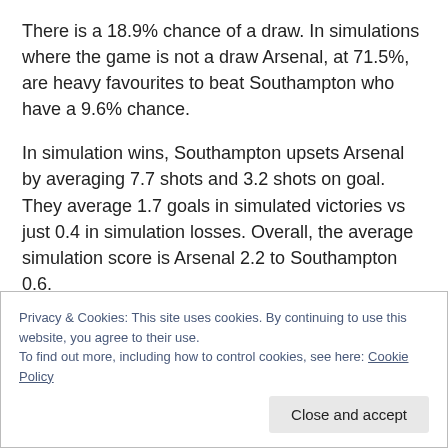There is a 18.9% chance of a draw. In simulations where the game is not a draw Arsenal, at 71.5%, are heavy favourites to beat Southampton who have a 9.6% chance.
In simulation wins, Southampton upsets Arsenal by averaging 7.7 shots and 3.2 shots on goal. They average 1.7 goals in simulated victories vs just 0.4 in simulation losses. Overall, the average simulation score is Arsenal 2.2 to Southampton 0.6.
It is inconceivable that Ralph Hasenhüttl would become
Privacy & Cookies: This site uses cookies. By continuing to use this website, you agree to their use.
To find out more, including how to control cookies, see here: Cookie Policy
Close and accept